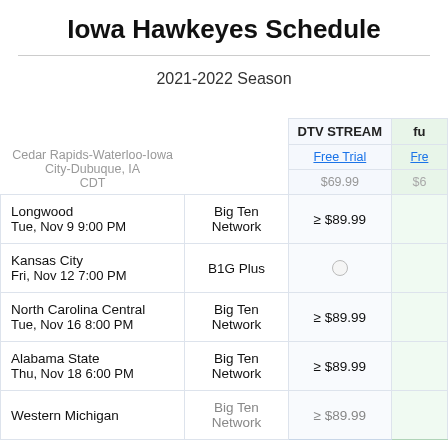Iowa Hawkeyes Schedule
2021-2022 Season
|  | Network | DTV STREAM | fu... |
| --- | --- | --- | --- |
| Cedar Rapids-Waterloo-Iowa City-Dubuque, IA CDT |  | Free Trial / $69.99 | Free / $... |
| Longwood
Tue, Nov 9 9:00 PM | Big Ten Network | ≥ $89.99 |  |
| Kansas City
Fri, Nov 12 7:00 PM | B1G Plus |  |  |
| North Carolina Central
Tue, Nov 16 8:00 PM | Big Ten Network | ≥ $89.99 |  |
| Alabama State
Thu, Nov 18 6:00 PM | Big Ten Network | ≥ $89.99 |  |
| Western Michigan | Big Ten Network | ≥ $89.99 |  |